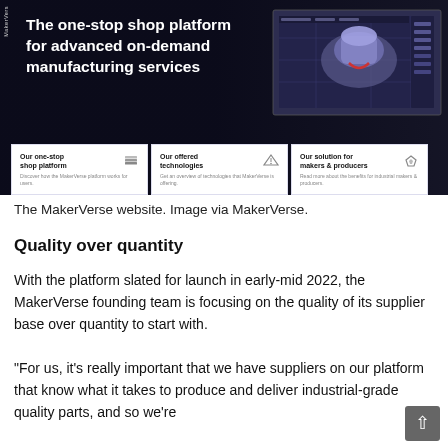[Figure (screenshot): MakerVerse website screenshot showing dark hero section with bold white text 'The one-stop shop platform for advanced on-demand manufacturing services' on the left, and a 3D rendered part/device on the right. Below the hero are three white cards: 'Our one-stop shop platform', 'Our offered technologies', and 'Our solution for makers & producers' each with an icon and short description.]
The MakerVerse website. Image via MakerVerse.
Quality over quantity
With the platform slated for launch in early-mid 2022, the MakerVerse founding team is focusing on the quality of its supplier base over quantity to start with.
“For us, it’s really important that we have suppliers on our platform that know what it takes to produce and deliver industrial-grade quality parts, and so we’re